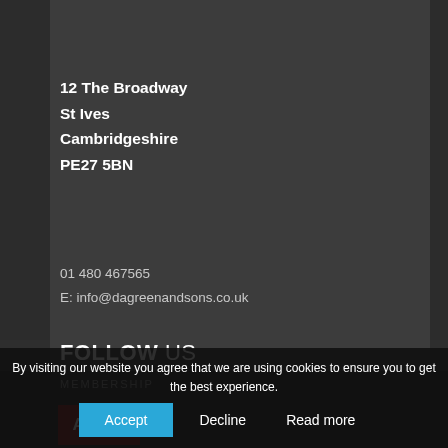12 The Broadway
St Ives
Cambridgeshire
PE27 5BN
01 480 467565
E: info@dagreenandsons.co.uk
FOLLOW US
[Figure (other): Three circular social media icons: Twitter (t), Facebook (f), LinkedIn (in) in cyan/teal color]
MEMBERSHIP
[Figure (logo): ACCA logo — red background with white ACCA text]
By visiting our website you agree that we are using cookies to ensure you to get the best experience.
Accept  Decline  Read more